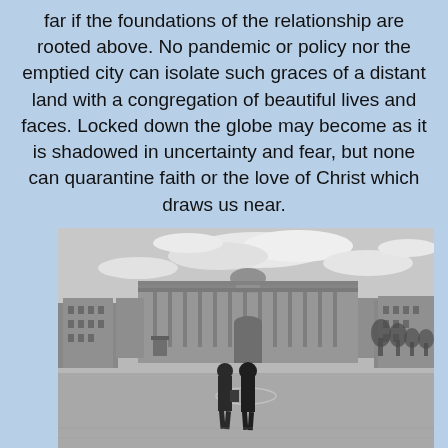far if the foundations of the relationship are rooted above. No pandemic or policy nor the emptied city can isolate such graces of a distant land with a congregation of beautiful lives and faces. Locked down the globe may become as it is shadowed in uncertainty and fear, but none can quarantine faith or the love of Christ which draws us near.
[Figure (photo): Black and white photograph of two people walking away from the camera across a large open plaza toward a grand classical European building (appears to be the Heldenplatz / Hofburg in Vienna). The sky is overcast with clouds, and bare trees are visible on the right side.]